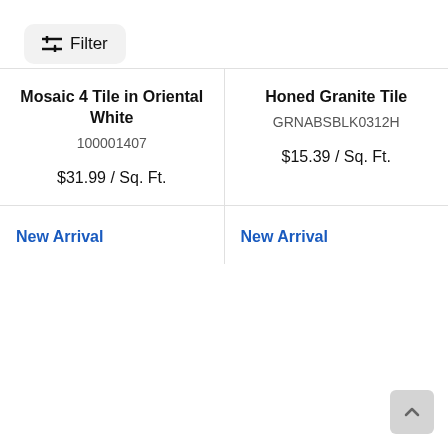[Figure (other): Filter button with slider icon]
Mosaic 4 Tile in Oriental White
100001407
$31.99 / Sq. Ft.
Honed Granite Tile
GRNABSBLK0312H
$15.39 / Sq. Ft.
New Arrival
New Arrival